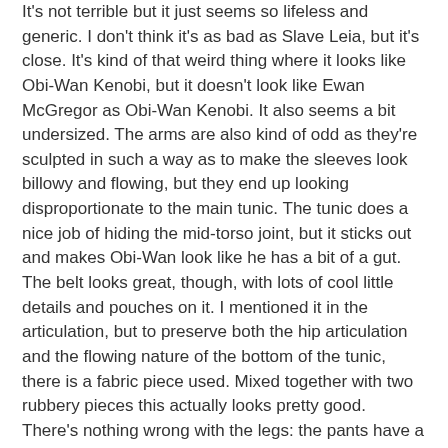It's not terrible but it just seems so lifeless and generic. I don't think it's as bad as Slave Leia, but it's close. It's kind of that weird thing where it looks like Obi-Wan Kenobi, but it doesn't look like Ewan McGregor as Obi-Wan Kenobi. It also seems a bit undersized. The arms are also kind of odd as they're sculpted in such a way as to make the sleeves look billowy and flowing, but they end up looking disproportionate to the main tunic. The tunic does a nice job of hiding the mid-torso joint, but it sticks out and makes Obi-Wan look like he has a bit of a gut. The belt looks great, though, with lots of cool little details and pouches on it. I mentioned it in the articulation, but to preserve both the hip articulation and the flowing nature of the bottom of the tunic, there is a fabric piece used. Mixed together with two rubbery pieces this actually looks pretty good. There's nothing wrong with the legs: the pants have a unique texture and the boots look pretty solid.
[Figure (photo): Partial photo showing close-up of fabric or costume texture in brown and beige tones, partially cut off at the bottom of the page.]